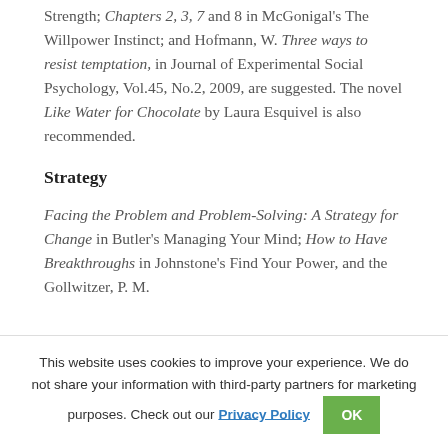Strength; Chapters 2, 3, 7 and 8 in McGonigal's The Willpower Instinct; and Hofmann, W. Three ways to resist temptation, in Journal of Experimental Social Psychology, Vol.45, No.2, 2009, are suggested. The novel Like Water for Chocolate by Laura Esquivel is also recommended.
Strategy
Facing the Problem and Problem-Solving: A Strategy for Change in Butler's Managing Your Mind; How to Have Breakthroughs in Johnstone's Find Your Power, and the Gollwitzer, P. M.
This website uses cookies to improve your experience. We do not share your information with third-party partners for marketing purposes. Check out our Privacy Policy  OK